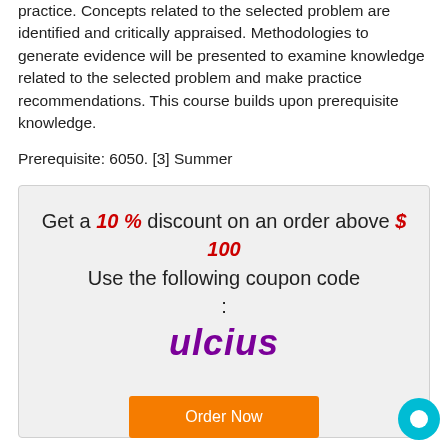practice. Concepts related to the selected problem are identified and critically appraised. Methodologies to generate evidence will be presented to examine knowledge related to the selected problem and make practice recommendations. This course builds upon prerequisite knowledge.
Prerequisite: 6050. [3] Summer
Get a 10 % discount on an order above $ 100
Use the following coupon code
:
ulcius
Order Now